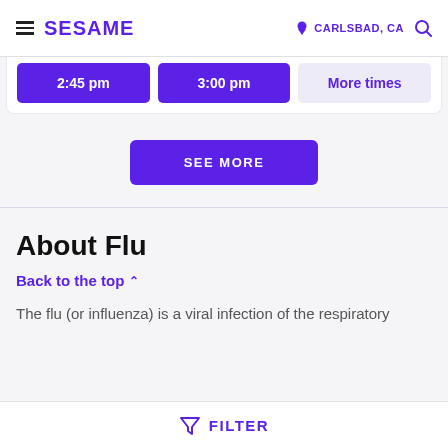SESAME | CARLSBAD, CA
2:45 pm  3:00 pm  More times
SEE MORE
About Flu
Back to the top ^
The flu (or influenza) is a viral infection of the respiratory
FILTER